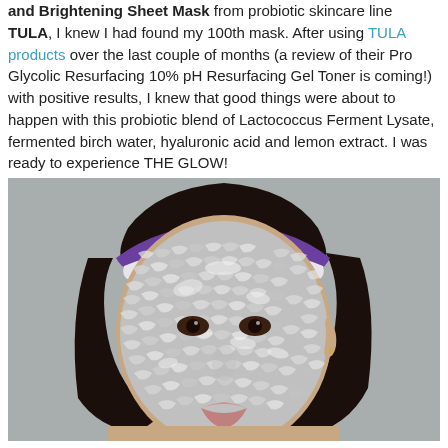and Brightening Sheet Mask from probiotic skincare line TULA, I knew I had found my 100th mask. After using TULA products over the last couple of months (a review of their Pro Glycolic Resurfacing 10% pH Resurfacing Gel Toner is coming!) with positive results, I knew that good things were about to happen with this probiotic blend of Lactococcus Ferment Lysate, fermented birch water, hyaluronic acid and lemon extract. I was ready to experience THE GLOW!
[Figure (photo): A person wearing a silver/metallic shimmering sheet mask on their face and a purple and white headband, photographed against a gray background.]